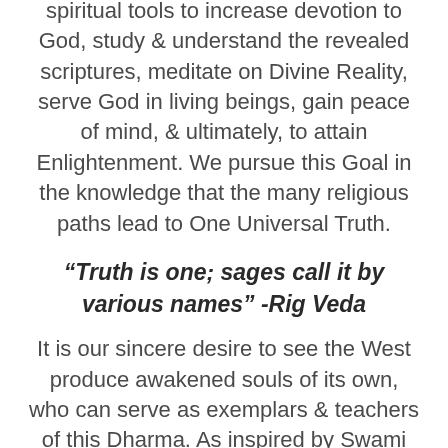spiritual tools to increase devotion to God, study & understand the revealed scriptures, meditate on Divine Reality, serve God in living beings, gain peace of mind, & ultimately, to attain Enlightenment. We pursue this Goal in the knowledge that the many religious paths lead to One Universal Truth.
“Truth is one; sages call it by various names” -Rig Veda
It is our sincere desire to see the West produce awakened souls of its own, who can serve as exemplars & teachers of this Dharma. As inspired by Swami Vivekananda, we believe that by spreading Vedanta in the West, bringing the teachings